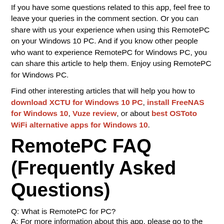If you have some questions related to this app, feel free to leave your queries in the comment section. Or you can share with us your experience when using this RemotePC on your Windows 10 PC. And if you know other people who want to experience RemotePC for Windows PC, you can share this article to help them. Enjoy using RemotePC for Windows PC.
Find other interesting articles that will help you how to download XCTU for Windows 10 PC, install FreeNAS for Windows 10, Vuze review, or about best OSToto WiFi alternative apps for Windows 10.
RemotePC FAQ (Frequently Asked Questions)
Q: What is RemotePC for PC?
A: For more information about this app, please go to the